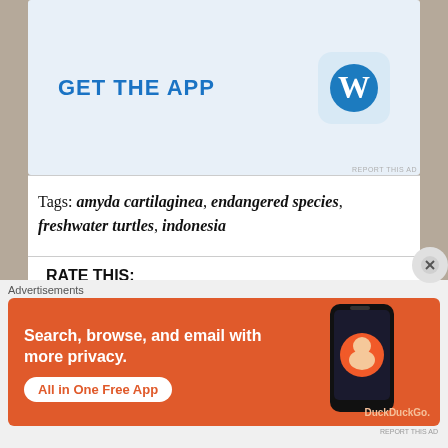[Figure (screenshot): WordPress 'GET THE APP' advertisement banner with blue WordPress logo icon on light blue background]
Tags: amyda cartilaginea, endangered species, freshwater turtles, indonesia
RATE THIS:
Rate This
SHARE THIS:
[Figure (screenshot): Row of social media sharing icon circles (Facebook, LinkedIn, print, Twitter, Pocket, Tumblr, Reddit, Telegram, Pinterest, email)]
Advertisements
[Figure (screenshot): DuckDuckGo advertisement: 'Search, browse, and email with more privacy. All in One Free App' with phone mockup and DuckDuckGo logo on orange background]